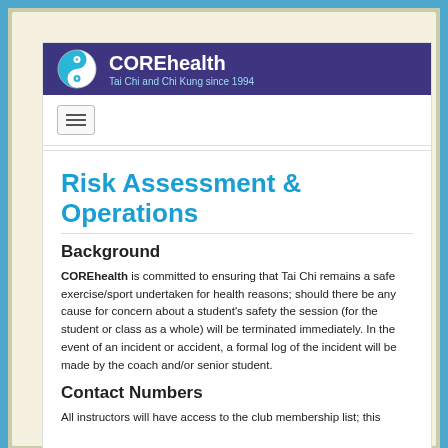[Figure (logo): COREhealth logo banner with yin-yang symbol. Purple background. Text: COREhealth, Tai Chi and Chi Kung since 1994]
Risk Assessment & Operations
Background
COREhealth is committed to ensuring that Tai Chi remains a safe exercise/sport undertaken for health reasons; should there be any cause for concern about a student's safety the session (for the student or class as a whole) will be terminated immediately. In the event of an incident or accident, a formal log of the incident will be made by the coach and/or senior student.
Contact Numbers
All instructors will have access to the club membership list; this